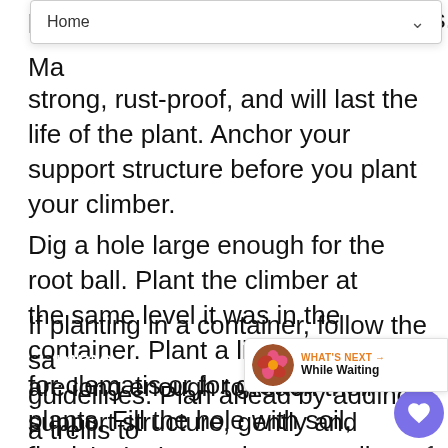Home
strong, rust-proof, and will last the life of the plant. Anchor your support structure before you plant your climber.
Dig a hole large enough for the root ball. Plant the climber at the same level it was in the container. Plant a little deeper for clematis or for grafted plants. Fill the hole with soil, firming as you, and water well. As soon as the stems are long enough to reach their support structure, gently and loosely tie them as necessary.
If planting in a container, follow the same guidelines. Plan ahead by adding a trellis to